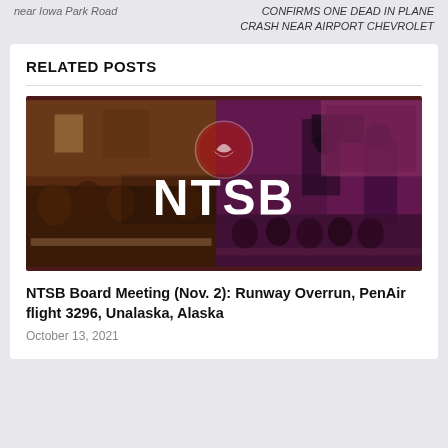near Iowa Park Road
CONFIRMS ONE DEAD IN PLANE CRASH NEAR AIRPORT CHEVROLET
RELATED POSTS
[Figure (photo): NTSB promotional/news image showing a conference room with people seated at a long table, cameras and media in the background, with the large white text 'NTSB' overlaid in the center and an eagle logo emblem above it, against a dark red/maroon background.]
NTSB Board Meeting (Nov. 2): Runway Overrun, PenAir flight 3296, Unalaska, Alaska
October 13, 2021